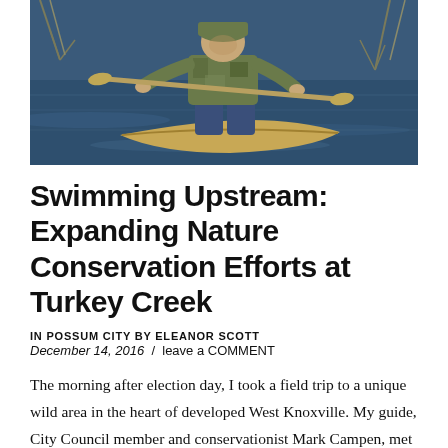[Figure (photo): A person in camouflage clothing sitting in a canoe on a lake or river, holding a paddle. The water is dark blue and reflective, with bare trees visible in the background.]
Swimming Upstream: Expanding Nature Conservation Efforts at Turkey Creek
IN POSSUM CITY BY ELEANOR SCOTT
December 14, 2016  /  leave a COMMENT
The morning after election day, I took a field trip to a unique wild area in the heart of developed West Knoxville. My guide, City Council member and conservationist Mark Campen, met me in a McDonald's parking lot. America had elected a